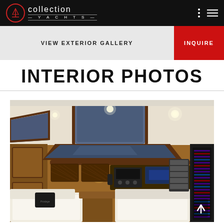Collection Yachts
VIEW EXTERIOR GALLERY
INQUIRE
INTERIOR PHOTOS
[Figure (photo): Interior of a luxury sailing yacht showing warm teak wood paneling, white upholstered seating, navigation station, overhead hatches with blue sky, recessed lighting, and electronics panel on the right.]